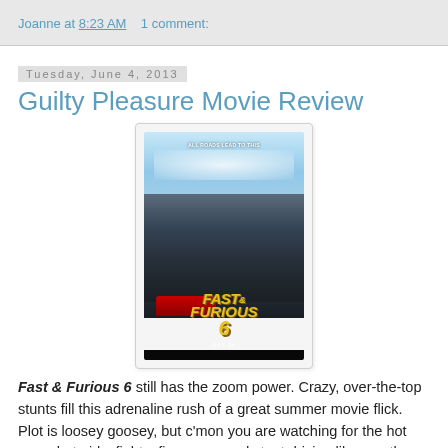Joanne at 8:23 AM    1 comment:
Tuesday, June 4, 2013
Guilty Pleasure Movie Review
[Figure (photo): Movie poster for Fast & Furious 6 showing cast members standing in front of cars against a cloudy sky background with the title logo at the bottom]
Fast & Furious 6 still has the zoom power. Crazy, over-the-top stunts fill this adrenaline rush of a great summer movie flick. Plot is loosey goosey, but c'mon you are watching for the hot guys, hot girls, fights, firepower, and stunt driving like no other. Dom (Vin Diesel - with the best motor growl of all - his voice) is drawn back into what he does best - assemble a team and get the bad guys. This time he's helping Dwayne